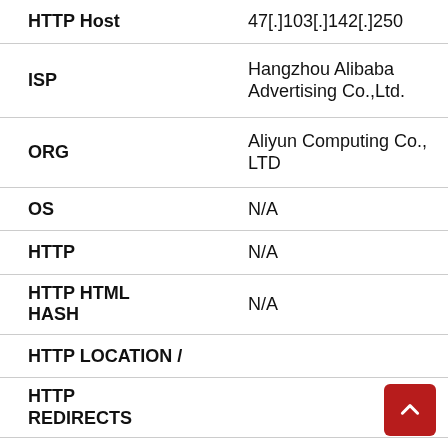| Field | Value |
| --- | --- |
| HTTP Host | 47[.]103[.]142[.]250 |
| ISP | Hangzhou Alibaba Advertising Co.,Ltd. |
| ORG | Aliyun Computing Co., LTD |
| OS | N/A |
| HTTP | N/A |
| HTTP HTML HASH | N/A |
| HTTP LOCATION / |  |
| HTTP REDIRECTS |  |
| HTTP ROBOTS | N/A |
| HTTP ROBOTS HASH | N/A |